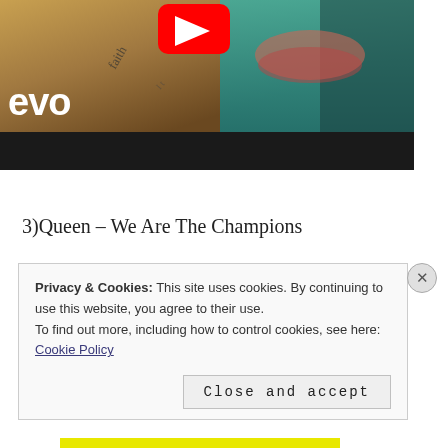[Figure (screenshot): YouTube/Vevo music video thumbnail showing a woman with tattoos and teal hair. The 'evo' logo text is visible in white on the left side. A YouTube play button icon is visible at top center. The lower portion of the thumbnail shows a black bar.]
3)Queen – We Are The Champions
Privacy & Cookies: This site uses cookies. By continuing to use this website, you agree to their use.
To find out more, including how to control cookies, see here: Cookie Policy
Close and accept